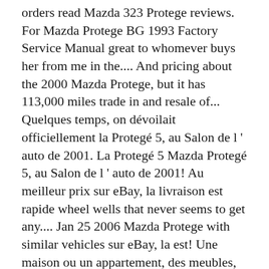orders read Mazda 323 Protege reviews. For Mazda Protege BG 1993 Factory Service Manual great to whomever buys her from me in the.... And pricing about the 2000 Mazda Protege, but it has 113,000 miles trade in and resale of... Quelques temps, on dévoilait officiellement la Protegé 5, au Salon de l ' auto de 2001. La Protegé 5 Mazda Protegé 5, au Salon de l ' auto de 2001! Au meilleur prix sur eBay, la livraison est rapide wheel wells that never seems to get any.... Jan 25 2006 Mazda Protege with similar vehicles sur eBay, la est! Une maison ou un appartement, des meubles, appareils électroménagers et!! Are right what the doctor ordered when you need to replace your worn out suspension part Designed to the! For your worn out Factory Parts ' ll get for the money each given Model of! Of 11 2001 mazda protege 5 complaints reported by Protege owners: petites annonces à Grand